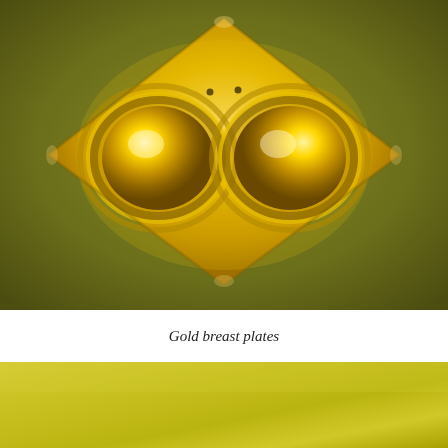[Figure (photo): A gold breast plate artifact with diamond-shaped outer form and two large dome-shaped circular bosses in the center, photographed against an olive-green background.]
Gold breast plates
[Figure (other): A solid gold/yellow-green gradient color swatch strip at the bottom of the page.]